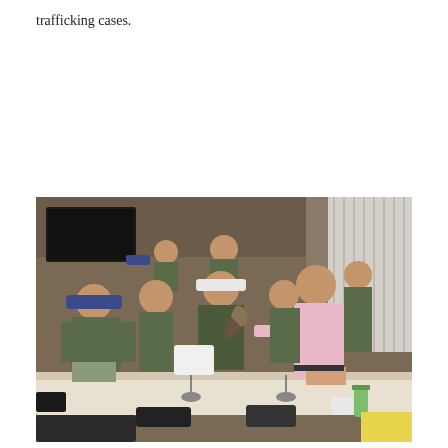trafficking cases.
[Figure (photo): A group of uniformed military/paramilitary personnel in camouflage uniforms seated and standing around a conference table, while a man in a pink shirt demonstrates or presents an object (appears to be wildlife specimen) to them in a meeting room setting.]